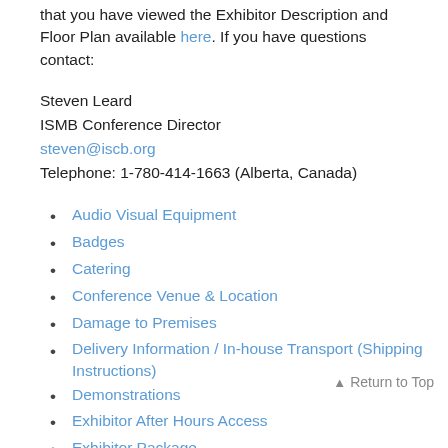that you have viewed the Exhibitor Description and Floor Plan available here. If you have questions contact:
Steven Leard
ISMB Conference Director
steven@iscb.org
Telephone: 1-780-414-1663 (Alberta, Canada)
Audio Visual Equipment
Badges
Catering
Conference Venue & Location
Damage to Premises
Delivery Information / In-house Transport (Shipping Instructions)
Demonstrations
Exhibitor After Hours Access
Exhibitor Package
Exhibitor Registration
Exhibition Schedule
Exhibitor Services
Helium Balloons
Hotel Accommodation